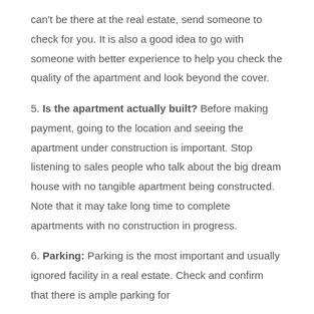can't be there at the real estate, send someone to check for you. It is also a good idea to go with someone with better experience to help you check the quality of the apartment and look beyond the cover.
5. Is the apartment actually built? Before making payment, going to the location and seeing the apartment under construction is important. Stop listening to sales people who talk about the big dream house with no tangible apartment being constructed. Note that it may take long time to complete apartments with no construction in progress.
6. Parking: Parking is the most important and usually ignored facility in a real estate. Check and confirm that there is ample parking for...